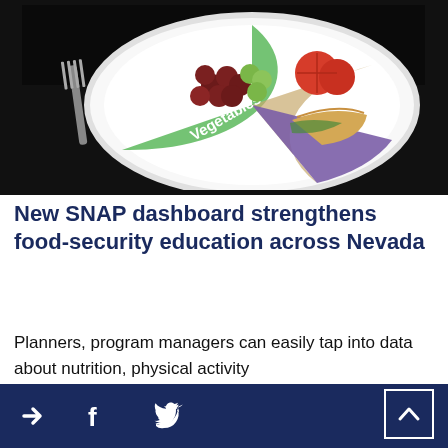[Figure (photo): A white dinner plate with MyPlate food guide sections labeled 'Vegetables' (green) and 'Protein' (purple), topped with grapes, tomatoes, and a sandwich. A fork is visible to the left on a dark tablecloth.]
New SNAP dashboard strengthens food-security education across Nevada
Planners, program managers can easily tap into data about nutrition, physical activity
> f [Twitter bird] [scroll to top]